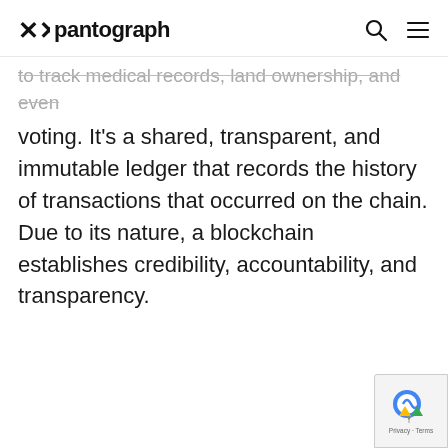pantograph
to track medical records, land ownership, and even voting. It's a shared, transparent, and immutable ledger that records the history of transactions that occurred on the chain. Due to its nature, a blockchain establishes credibility, accountability, and transparency.
[Figure (logo): reCAPTCHA badge with Privacy and Terms links]